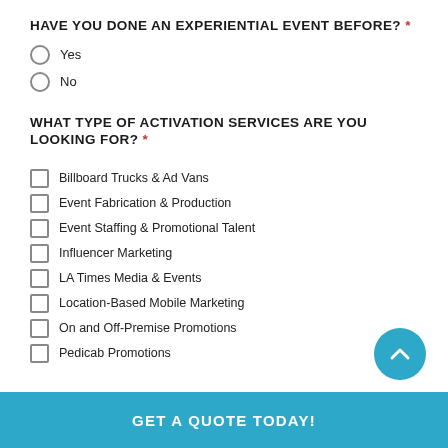HAVE YOU DONE AN EXPERIENTIAL EVENT BEFORE? *
Yes
No
WHAT TYPE OF ACTIVATION SERVICES ARE YOU LOOKING FOR? *
Billboard Trucks & Ad Vans
Event Fabrication & Production
Event Staffing & Promotional Talent
Influencer Marketing
LA Times Media & Events
Location-Based Mobile Marketing
On and Off-Premise Promotions
Pedicab Promotions
GET A QUOTE TODAY!